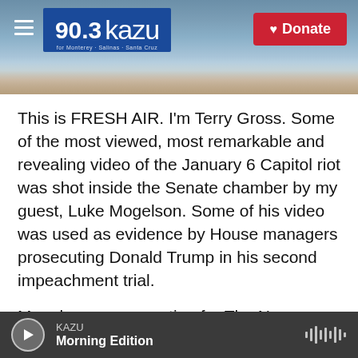[Figure (screenshot): KAZU 90.3 radio station website header banner with coastal landscape background, menu icon, station logo, and Donate button]
This is FRESH AIR. I'm Terry Gross. Some of the most viewed, most remarkable and revealing video of the January 6 Capitol riot was shot inside the Senate chamber by my guest, Luke Mogelson. Some of his video was used as evidence by House managers prosecuting Donald Trump in his second impeachment trial.
Mogelson was reporting for The New Yorker on the Trump rally that preceded the storming of the Capitol, walked with the mob to the Capitol and after rioters breached the building, he entered with them. In the Senate chamber, he recorded video of
[Figure (screenshot): Audio player bar showing KAZU Morning Edition with play button and waveform icon]